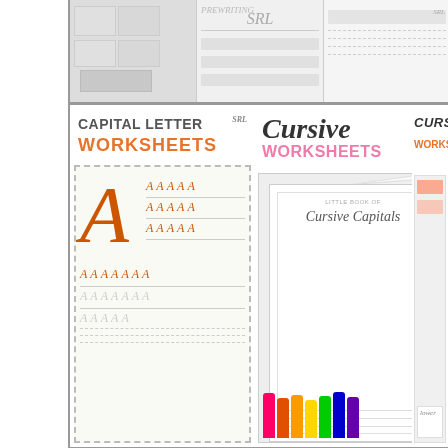[Figure (screenshot): Top strip of thumbnail images showing worksheet products including handwriting and letter worksheets]
[Figure (screenshot): Capital Letter Worksheets product card showing large letter A practice sheet with orange capital A repeated in rows for handwriting practice, with SRL logo badge]
[Figure (screenshot): Cursive Worksheets product card showing cursive script title in pink and gray with a Little Book of Cursive Capitals booklet fanned out with colorful markers]
[Figure (screenshot): Partially visible third cursive worksheets card (lowercase) cut off at right edge]
top
Math
[Figure (screenshot): Subtraction Worksheet card with purple/lavender header text on purple background showing 'SUBTRACTION WORKSHEET' and subtitle 'Two Digit Subtraction']
[Figure (screenshot): Mad Minute Addition Facts card with lavender/purple header showing 'MAD MINUTE ADDITION FACTS']
[Figure (screenshot): Partially visible Measure worksheet card with teal header, cut off at right edge]
CLOSE